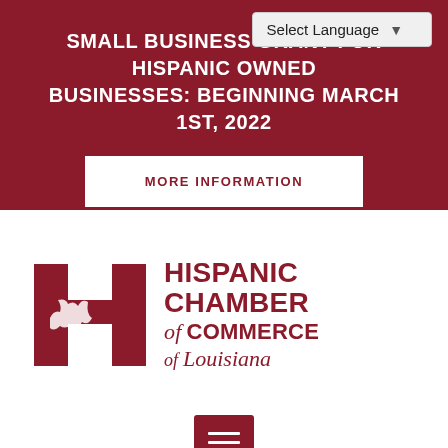Select Language
SMALL BUSINESS GRANT FOR HISPANIC OWNED BUSINESSES: BEGINNING MARCH 1ST, 2022
MORE INFORMATION
[Figure (logo): Hispanic Chamber of Commerce of Louisiana logo — stylized H with Louisiana state outline, dark red color]
[Figure (other): Dark red hamburger menu button icon with three horizontal lines]